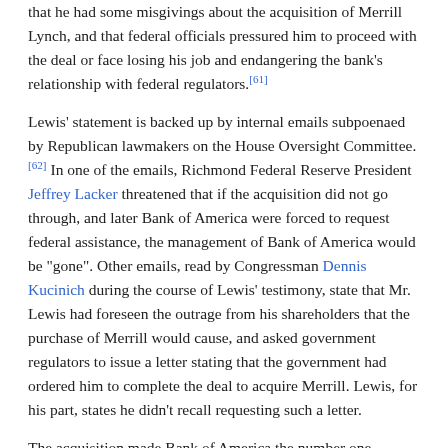that he had some misgivings about the acquisition of Merrill Lynch, and that federal officials pressured him to proceed with the deal or face losing his job and endangering the bank's relationship with federal regulators.[61]
Lewis' statement is backed up by internal emails subpoenaed by Republican lawmakers on the House Oversight Committee.[62] In one of the emails, Richmond Federal Reserve President Jeffrey Lacker threatened that if the acquisition did not go through, and later Bank of America were forced to request federal assistance, the management of Bank of America would be "gone". Other emails, read by Congressman Dennis Kucinich during the course of Lewis' testimony, state that Mr. Lewis had foreseen the outrage from his shareholders that the purchase of Merrill would cause, and asked government regulators to issue a letter stating that the government had ordered him to complete the deal to acquire Merrill. Lewis, for his part, states he didn't recall requesting such a letter.
The acquisition made Bank of America the number one underwriter of global high-yield debt, the third largest underwriter of global equity and the ninth largest adviser on global mergers and